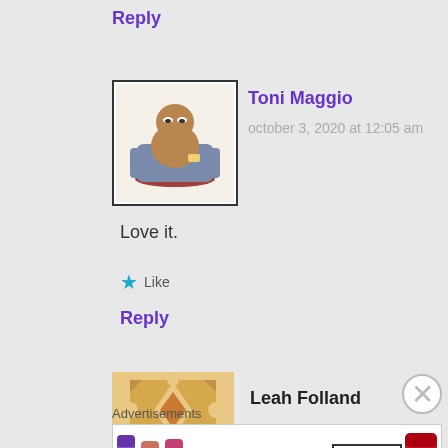Reply
Toni Maggio
october 3, 2020 at 12:05 am
Love it.
Like
Reply
Leah Folland
Advertisements
[Figure (photo): MAC Cosmetics lipstick advertisement with purple, pink, and red lipsticks, MAC logo, SHOP NOW button]